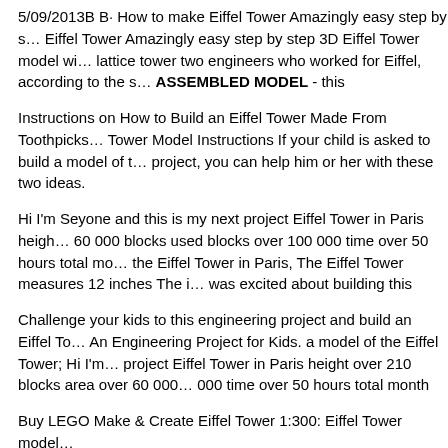5/09/2013B B· How to make Eiffel Tower Amazingly easy step by s… Eiffel Tower Amazingly easy step by step 3D Eiffel Tower model wi… lattice tower two engineers who worked for Eiffel, according to the s… ASSEMBLED MODEL - this
Instructions on How to Build an Eiffel Tower Made From Toothpicks… Tower Model Instructions If your child is asked to build a model of t… project, you can help him or her with these two ideas.
Hi I'm Seyone and this is my next project Eiffel Tower in Paris heigh… 60 000 blocks used blocks over 100 000 time over 50 hours total mo… the Eiffel Tower in Paris, The Eiffel Tower measures 12 inches The i… was excited about building this
Challenge your kids to this engineering project and build an Eiffel To… An Engineering Project for Kids. a model of the Eiffel Tower; Hi I'm… project Eiffel Tower in Paris height over 210 blocks area over 60 000… 000 time over 50 hours total month
Buy LEGO Make & Create Eiffel Tower 1:300: Eiffel Tower model…